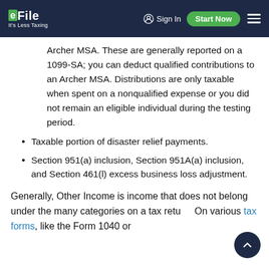eFile It's Less Taxing | Sign In | Start Now
Archer MSA. These are generally reported on a 1099-SA; you can deduct qualified contributions to an Archer MSA. Distributions are only taxable when spent on a nonqualified expense or you did not remain an eligible individual during the testing period.
Taxable portion of disaster relief payments.
Section 951(a) inclusion, Section 951A(a) inclusion, and Section 461(l) excess business loss adjustment.
Generally, Other Income is income that does not belong under the many categories on a tax return. On various tax forms, like the Form 1040 or